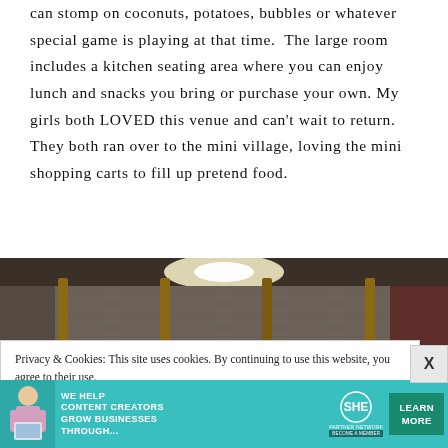can stomp on coconuts, potatoes, bubbles or whatever special game is playing at that time. The large room includes a kitchen seating area where you can enjoy lunch and snacks you bring or purchase your own. My girls both LOVED this venue and can't wait to return. They both ran over to the mini village, loving the mini shopping carts to fill up pretend food.
[Figure (photo): Interior of an indoor play area showing rope/net climbing structures and wooden poles, brightly lit from above]
Privacy & Cookies: This site uses cookies. By continuing to use this website, you agree to their use.
To find out more, including how to control cookies, see here: Cookie Policy
[Figure (infographic): Advertisement banner: 'We help content creators grow businesses through...' SHE Media Partner Network - Learn More / Become a Member]